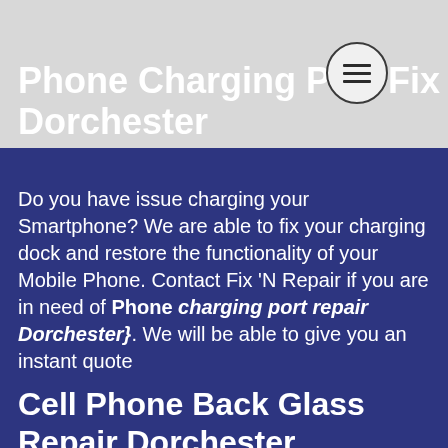Phone Charging Port Fix Dorchester
Do you have issue charging your Smartphone? We are able to fix your charging dock and restore the functionality of your Mobile Phone. Contact Fix ’N Repair if you are in need of Phone charging port repair Dorchester}. We will be able to give you an instant quote
Cell Phone Back Glass Repair Dorchester